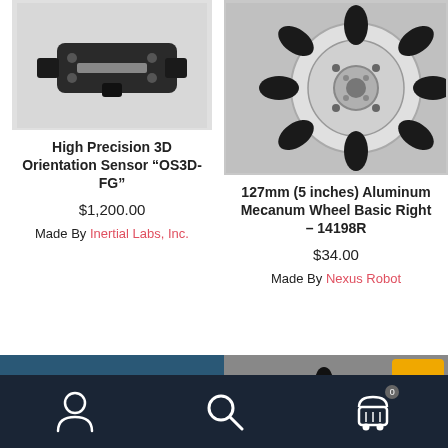[Figure (photo): High Precision 3D Orientation Sensor OS3D-FG - black device with mounting bracket]
[Figure (photo): 127mm 5 inches Aluminum Mecanum Wheel Basic Right 14198R - metallic omni-wheel with black rollers]
High Precision 3D Orientation Sensor “OS3D-FG”
$1,200.00
Made By Inertial Labs, Inc.
127mm (5 inches) Aluminum Mecanum Wheel Basic Right – 14198R
$34.00
Made By Nexus Robot
[Figure (photo): Autonomous Hardware store banner - dark teal background with white text]
[Figure (photo): Mecanum wheel viewed from bottom - dark omni-wheel with black rollers]
[Figure (other): Bottom navigation bar with user icon, search icon, and cart icon with badge 0]